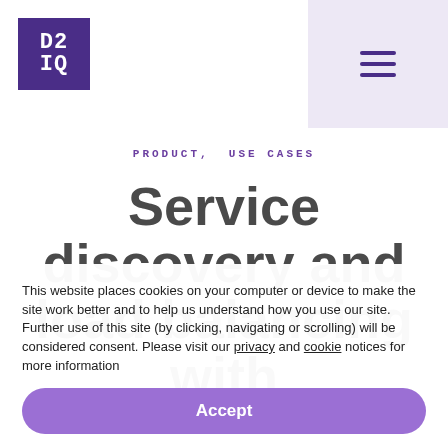[Figure (logo): D2IQ logo: purple square with white monospace text 'D2' on top and 'IQ' below]
[Figure (other): Hamburger menu icon (three horizontal lines) in a light purple rectangle in the top right corner]
PRODUCT, USE CASES
Service discovery and load balancing with
This website places cookies on your computer or device to make the site work better and to help us understand how you use our site. Further use of this site (by clicking, navigating or scrolling) will be considered consent. Please visit our privacy and cookie notices for more information
Accept